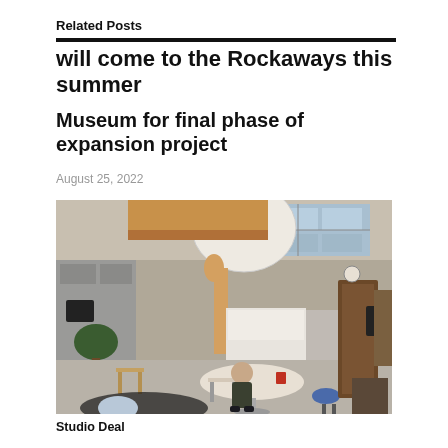Related Posts
will come to the Rockaways this summer
Museum for final phase of expansion project
August 25, 2022
[Figure (photo): A man sitting at a round white table in a studio space with a large paper lantern hanging from the ceiling, wooden cabinets, industrial windows, and various furniture and objects around the room.]
Studio Deal